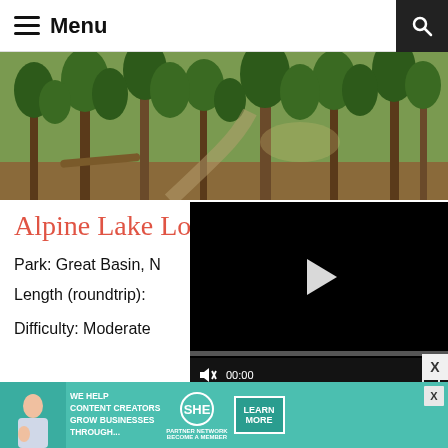≡ Menu
[Figure (photo): Forest trail photo with tall pine trees and a rocky path through the woods]
Alpine Lake Loop
Park: Great Basin, N...
[Figure (screenshot): Video player with black background, play button, progress bar, mute icon, 00:00 timestamp, and fullscreen expand icon]
Length (roundtrip):
Difficulty: Moderate
[Figure (infographic): SHE Media advertisement banner: WE HELP CONTENT CREATORS GROW BUSINESSES THROUGH... with SHE PARTNER NETWORK BECOME A MEMBER logo and LEARN MORE button]